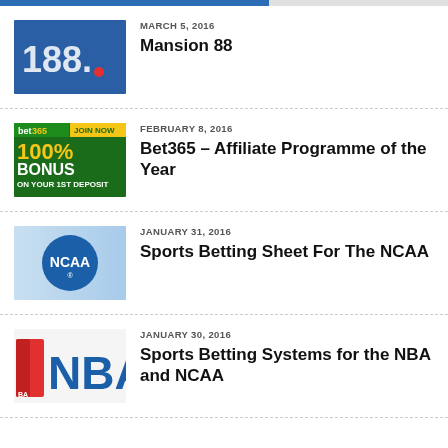[Figure (screenshot): Top navigation bar with blue gradient]
[Figure (logo): Mansion 88 logo - blue background with white text '188.']
MARCH 5, 2016
Mansion 88
[Figure (logo): Bet365 banner - 100% BONUS ON YOUR 1ST DEPOSIT on green background]
FEBRUARY 8, 2016
Bet365 – Affiliate Programme of the Year
[Figure (logo): NCAA logo - blue circle with NCAA text on light blue background]
JANUARY 31, 2016
Sports Betting Sheet For The NCAA
[Figure (logo): NBA logo - red and blue NBA text]
JANUARY 30, 2016
Sports Betting Systems for the NBA and NCAA